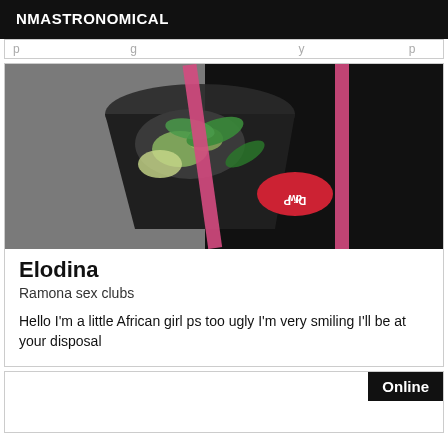NMASTRONOMICAL
[Figure (photo): A dark cocktail drink in a black cup with a pink straw, lime slices, mint leaves, and a Dr Pepper logo visible, photographed from above on a dark surface.]
Elodina
Ramona sex clubs
Hello I'm a little African girl ps too ugly I'm very smiling I'll be at your disposal
Online